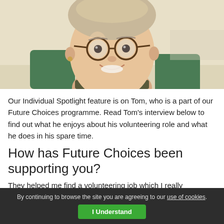[Figure (photo): Close-up photo of a young person with short hair wearing round tortoiseshell glasses, smiling at the camera. They are sitting in front of what appears to be a green chair. The background is a light beige/cream colour.]
Our Individual Spotlight feature is on Tom, who is a part of our Future Choices programme. Read Tom's interview below to find out what he enjoys about his volunteering role and what he does in his spare time.
How has Future Choices been supporting you?
They helped me find a volunteering job which I really
By continuing to browse the site you are agreeing to our use of cookies.
I Understand